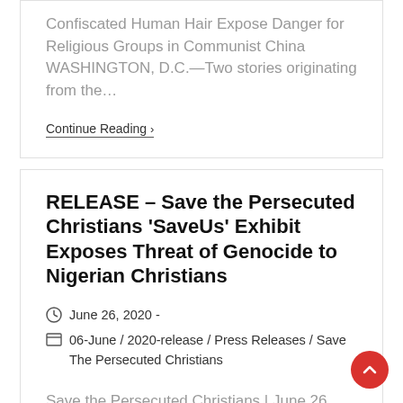Confiscated Human Hair Expose Danger for Religious Groups in Communist China WASHINGTON, D.C.—Two stories originating from the…
Continue Reading ›
RELEASE – Save the Persecuted Christians 'SaveUs' Exhibit Exposes Threat of Genocide to Nigerian Christians
June 26, 2020 -
06-June / 2020-release / Press Releases / Save The Persecuted Christians
Save the Persecuted Christians | June 26, 2020 Informs and Focuses Prayer at Connecticut Capitol,